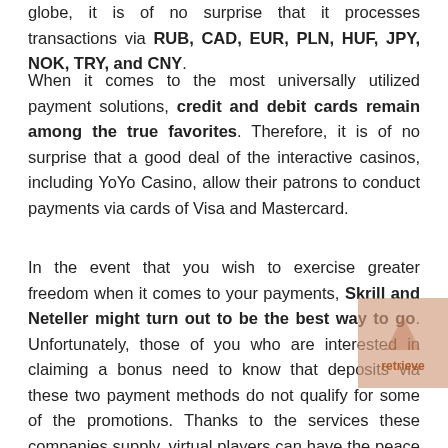globe, it is of no surprise that it processes transactions via RUB, CAD, EUR, PLN, HUF, JPY, NOK, TRY, and CNY.
When it comes to the most universally utilized payment solutions, credit and debit cards remain among the true favorites. Therefore, it is of no surprise that a good deal of the interactive casinos, including YoYo Casino, allow their patrons to conduct payments via cards of Visa and Mastercard.
In the event that you wish to exercise greater freedom when it comes to your payments, Skrill and Neteller might turn out to be the best way to go. Unfortunately, those of you who are interested in claiming a bonus need to know that deposits via these two payment methods do not qualify for some of the promotions. Thanks to the services these companies supply, virtual players can have the peace of mind that when they make a deposit or when they retrieve their funds, they will be provided with utmost security. If